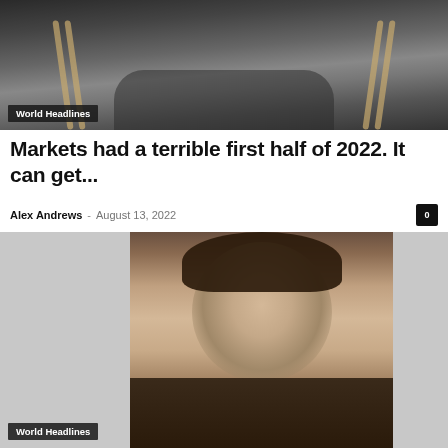[Figure (photo): Person wearing dark jacket with arms crossed, upper body shot against blurred outdoor background]
World Headlines
Markets had a terrible first half of 2022. It can get...
Alex Andrews – August 13, 2022  0
[Figure (photo): Mugshot-style portrait of a young man with long dark hair against gray background, with 'World Headlines' badge overlay]